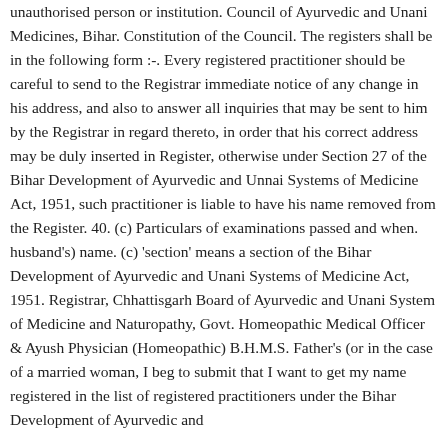unauthorised person or institution. Council of Ayurvedic and Unani Medicines, Bihar. Constitution of the Council. The registers shall be in the following form :-. Every registered practitioner should be careful to send to the Registrar immediate notice of any change in his address, and also to answer all inquiries that may be sent to him by the Registrar in regard thereto, in order that his correct address may be duly inserted in Register, otherwise under Section 27 of the Bihar Development of Ayurvedic and Unnai Systems of Medicine Act, 1951, such practitioner is liable to have his name removed from the Register. 40. (c) Particulars of examinations passed and when. husband's) name. (c) 'section' means a section of the Bihar Development of Ayurvedic and Unani Systems of Medicine Act, 1951. Registrar, Chhattisgarh Board of Ayurvedic and Unani System of Medicine and Naturopathy, Govt. Homeopathic Medical Officer & Ayush Physician (Homeopathic) B.H.M.S. Father's (or in the case of a married woman, I beg to submit that I want to get my name registered in the list of registered practitioners under the Bihar Development of Ayurvedic and